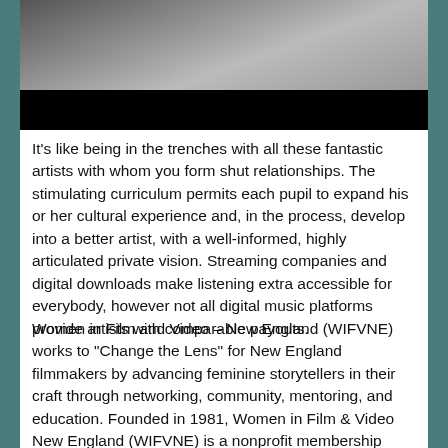[Figure (photo): A photograph showing a person's upper body/head area against a light sky background, with a black bar overlaid at the bottom of the image.]
It's like being in the trenches with all these fantastic artists with whom you form shut relationships. The stimulating curriculum permits each pupil to expand his or her cultural experience and, in the process, develop into a better artist, with a well-informed, highly articulated private vision. Streaming companies and digital downloads make listening extra accessible for everybody, however not all digital music platforms provide artists with comparable payouts.
Women in Film and Video – New England (WIFVNE) works to "Change the Lens" for New England filmmakers by advancing feminine storytellers in their craft through networking, community, mentoring, and education. Founded in 1981, Women in Film & Video New England (WIFVNE) is a nonprofit membership organization dedicated to supporting the accomplishments of women working within the movie, video and new media industries. They are great at producing direct value for all...